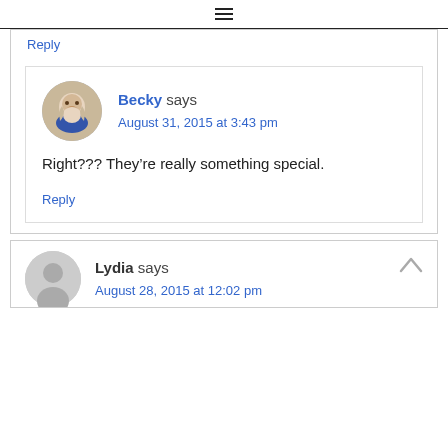≡ (hamburger menu icon)
Reply
Becky says
August 31, 2015 at 3:43 pm
Right??? They're really something special.
Reply
Lydia says
August 28, 2015 at 12:02 pm